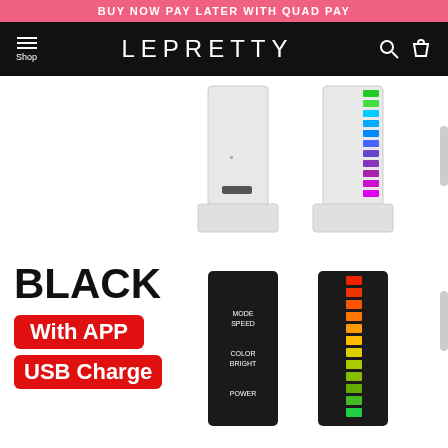BUY NOW PAY LATER WITH QUAD PAY
LEPRETTY
[Figure (photo): Two white LED RGB light bar towers, one plain white and one showing multicolor LED segments (green, teal, blue, purple gradient from top to bottom), on a white background.]
[Figure (photo): Two black LED RGB light bar devices. Left device shows button labels MODE SPEED, COLOR BRIGHT, POWER. Right device shows colored LED segments in red, orange, yellow, green gradient from top to bottom.]
BLACK
With APP
USB Charge